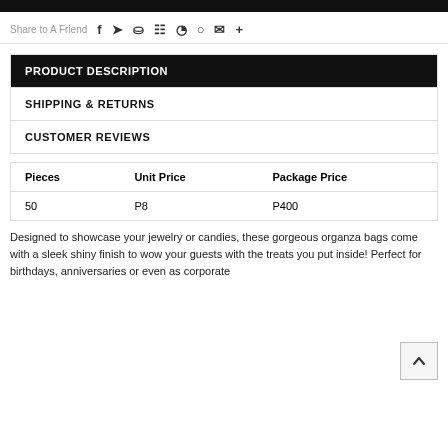[Figure (other): Top black banner bar]
Share to A Friend
PRODUCT DESCRIPTION
SHIPPING & RETURNS
CUSTOMER REVIEWS
| Pieces | Unit Price | Package Price |
| --- | --- | --- |
| 50 | P8 | P400 |
Designed to showcase your jewelry or candies, these gorgeous organza bags come with a sleek shiny finish to wow your guests with the treats you put inside! Perfect for birthdays, anniversaries or even as corporate